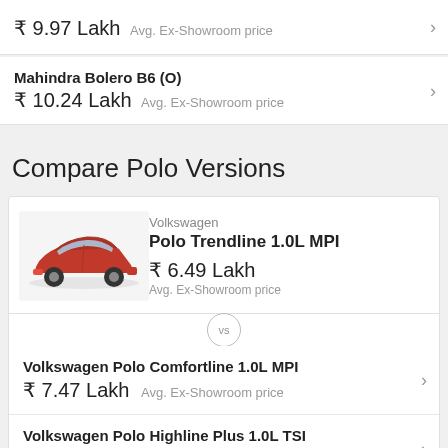₹ 9.97 Lakh  Avg. Ex-Showroom price
Mahindra Bolero B6 (O)
₹ 10.24 Lakh  Avg. Ex-Showroom price
Compare Polo Versions
[Figure (photo): Red Volkswagen Polo hatchback car image]
Volkswagen
Polo Trendline 1.0L MPI
₹ 6.49 Lakh
Avg. Ex-Showroom price
Volkswagen Polo Comfortline 1.0L MPI
₹ 7.47 Lakh  Avg. Ex-Showroom price
Volkswagen Polo Highline Plus 1.0L TSI
₹ 8.97 Lakh  Avg. Ex-Showroom price
Volkswagen Polo Highline Plus 1.0L TSI AT